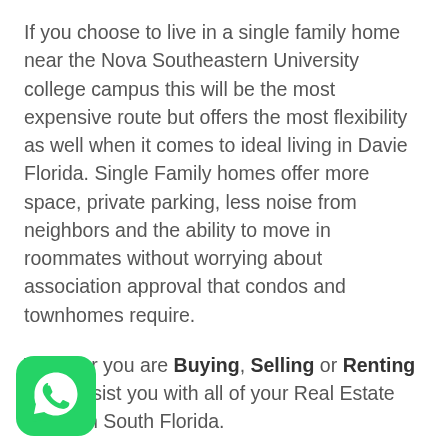If you choose to live in a single family home near the Nova Southeastern University college campus this will be the most expensive route but offers the most flexibility as well when it comes to ideal living in Davie Florida. Single Family homes offer more space, private parking, less noise from neighbors and the ability to move in roommates without worrying about association approval that condos and townhomes require.
Whether you are Buying, Selling or Renting I can assist you with all of your Real Estate needs in South Florida.
Courtyards At Davie
Courtyards at Davie offers
[Figure (logo): WhatsApp logo — green rounded square with white phone handset icon]